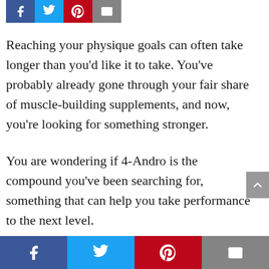[Figure (other): Social share icons row at top: Facebook (blue), Twitter (light blue), Pinterest (red), Email (gray)]
Reaching your physique goals can often take longer than you'd like it to take. You've probably already gone through your fair share of muscle-building supplements, and now, you're looking for something stronger.
You are wondering if 4-Andro is the compound you've been searching for, something that can help you take performance to the next level.
In today's article, we're going to show you
[Figure (other): Social share bottom bar: Facebook (blue), Twitter (light blue), Pinterest (red), Email (gray)]